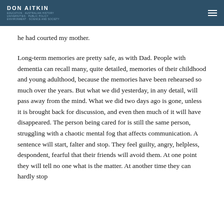DON AITKIN
he had courted my mother.
Long-term memories are pretty safe, as with Dad. People with dementia can recall many, quite detailed, memories of their childhood and young adulthood, because the memories have been rehearsed so much over the years. But what we did yesterday, in any detail, will pass away from the mind. What we did two days ago is gone, unless it is brought back for discussion, and even then much of it will have disappeared. The person being cared for is still the same person, struggling with a chaotic mental fog that affects communication. A sentence will start, falter and stop. They feel guilty, angry, helpless, despondent, fearful that their friends will avoid them. At one point they will tell no one what is the matter. At another time they can hardly stop